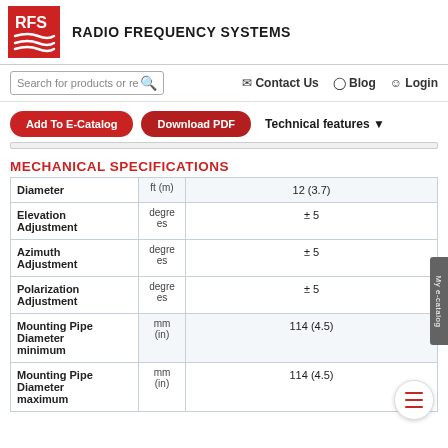[Figure (logo): RFS Radio Frequency Systems logo — red square with white 'RFS' text and two white wave lines]
RADIO FREQUENCY SYSTEMS
[Figure (screenshot): Website navigation bar with search box, Contact Us, Blog, Login links]
[Figure (screenshot): Action bar with Add To E-Catalog and Download PDF buttons, and Technical features dropdown]
MECHANICAL SPECIFICATIONS
|  | Unit | Value |
| --- | --- | --- |
| Diameter | ft (m) | 12 (3.7) |
| Elevation Adjustment | degrees | ± 5 |
| Azimuth Adjustment | degrees | ± 5 |
| Polarization Adjustment | degrees | ± 5 |
| Mounting Pipe Diameter minimum | mm (in) | 114 (4.5) |
| Mounting Pipe Diameter maximum | mm (in) | 114 (4.5) |